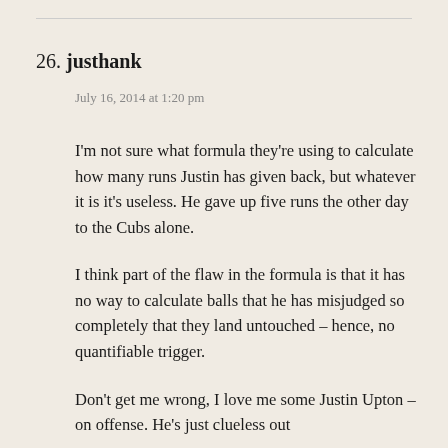26. justhank
July 16, 2014 at 1:20 pm
I'm not sure what formula they're using to calculate how many runs Justin has given back, but whatever it is it's useless. He gave up five runs the other day to the Cubs alone.
I think part of the flaw in the formula is that it has no way to calculate balls that he has misjudged so completely that they land untouched – hence, no quantifiable trigger.
Don't get me wrong, I love me some Justin Upton – on offense. He's just clueless out